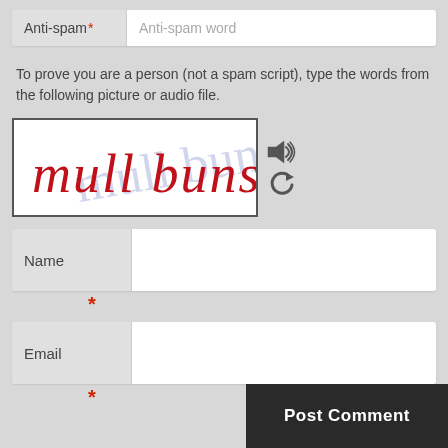Anti-spam* Anti-spam word
To prove you are a person (not a spam script), type the words from the following picture or audio file.
[Figure (other): CAPTCHA image showing handwritten text 'mull buns' in red on white background with faint blue background text]
Name *
Email *
Post Comment